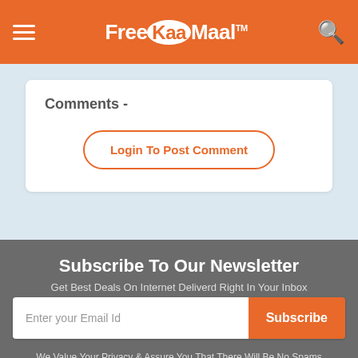FreeKaaMaal
Comments -
Login To Post Comment
Subscribe To Our Newsletter
Get Best Deals On Internet Deliverd Right In Your Inbox
Enter your Email Id
Subscribe
We Value Your Privacy & Assure You That There Will Be No Spams From Us In Your Inbox. By Subscribing With Us, You Will Receive Only 1 Mail Per Day. Subscribe Now & Never Miss An Offer Again.